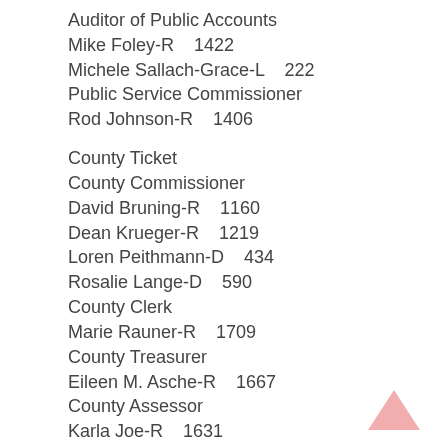Auditor of Public Accounts
Mike Foley-R    1422
Michele Sallach-Grace-L    222
Public Service Commissioner
Rod Johnson-R    1406
County Ticket
County Commissioner
David Bruning-R    1160
Dean Krueger-R    1219
Loren Peithmann-D    434
Rosalie Lange-D    590
County Clerk
Marie Rauner-R    1709
County Treasurer
Eileen M. Asche-R    1667
County Assessor
Karla Joe-R    1631